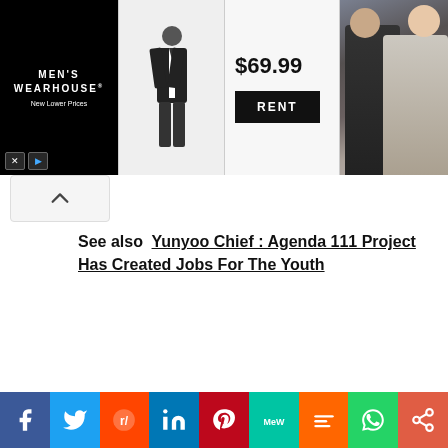[Figure (screenshot): Men's Wearhouse advertisement banner showing a boy in suit, price $69.99, RENT button, and a couple in formal wear]
See also  Yunyoo Chief : Agenda 111 Project Has Created Jobs For The Youth
[Figure (infographic): Social media share buttons bar: Facebook, Twitter, Reddit, LinkedIn, Pinterest, MeWe, Mix, WhatsApp, Share]